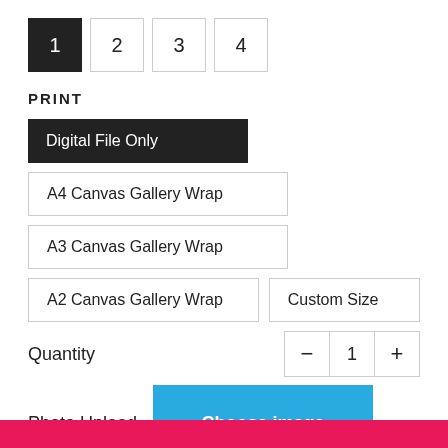1 (active), 2, 3, 4 — step navigation buttons
PRINT
Digital File Only
A4 Canvas Gallery Wrap
A3 Canvas Gallery Wrap
A2 Canvas Gallery Wrap
Custom Size
Quantity  −  1  +
Photo Upload  Choose image